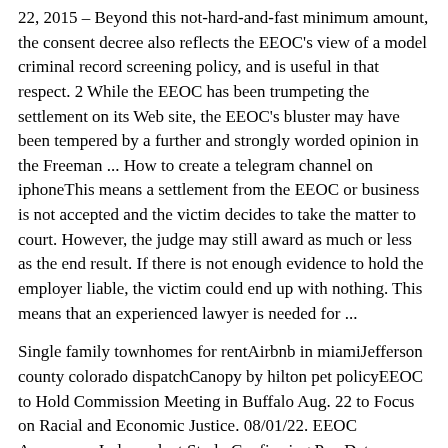22, 2015 – Beyond this not-hard-and-fast minimum amount, the consent decree also reflects the EEOC's view of a model criminal record screening policy, and is useful in that respect. 2 While the EEOC has been trumpeting the settlement on its Web site, the EEOC's bluster may have been tempered by a further and strongly worded opinion in the Freeman ... How to create a telegram channel on iphoneThis means a settlement from the EEOC or business is not accepted and the victim decides to take the matter to court. However, the judge may still award as much or less as the end result. If there is not enough evidence to hold the employer liable, the victim could end up with nothing. This means that an experienced lawyer is needed for ...
Single family townhomes for rentAirbnb in miamiJefferson county colorado dispatchCanopy by hilton pet policyEEOC to Hold Commission Meeting in Buffalo Aug. 22 to Focus on Racial and Economic Justice. 08/01/22. EEOC Announces Independent Study Confirming Pay Data Collection is a Key Tool to Fight Discrimination. 07/28/22. EEOC Report Examines Trends in Federal EEO Directors Reporting Structure. 07/27/22. Private owner townhomes for rentDecimators warscrollPranks on husband while sleeping. Smg transmission m5Attorney Involvement. Usually, a settlement check is sent to the attorney of record. The attorney may hold the check in a trust or escrow account until it clears. This may take several days, especially if it is a large check. Your attorney will also deduct his or her own share from the